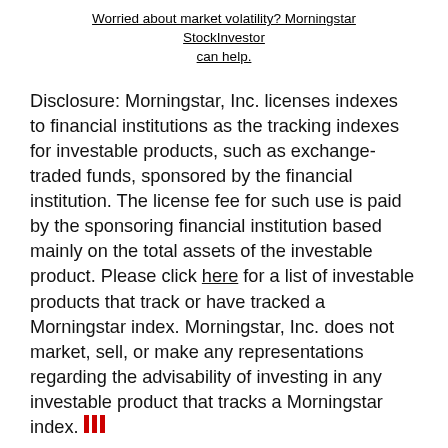Worried about market volatility? Morningstar StockInvestor can help.
Disclosure: Morningstar, Inc. licenses indexes to financial institutions as the tracking indexes for investable products, such as exchange-traded funds, sponsored by the financial institution. The license fee for such use is paid by the sponsoring financial institution based mainly on the total assets of the investable product. Please click here for a list of investable products that track or have tracked a Morningstar index. Morningstar, Inc. does not market, sell, or make any representations regarding the advisability of investing in any investable product that tracks a Morningstar index.
MORE ON THIS TOPIC
No Perfect Shelter From The St...